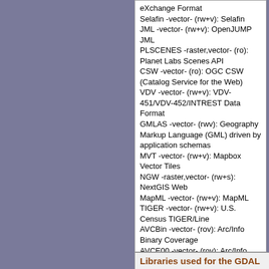eXchange Format
Selafin -vector- (rw+v): Selafin
JML -vector- (rw+v): OpenJUMP JML
PLSCENES -raster,vector- (ro): Planet Labs Scenes API
CSW -vector- (ro): OGC CSW (Catalog Service for the Web)
VDV -vector- (rw+v): VDV-451/VDV-452/INTREST Data Format
GMLAS -vector- (rwv): Geography Markup Language (GML) driven by application schemas
MVT -vector- (rw+v): Mapbox Vector Tiles
NGW -raster,vector- (rw+s): NextGIS Web
MapML -vector- (rw+v): MapML
TIGER -vector- (rw+v): U.S. Census TIGER/Line
AVCBin -vector- (rov): Arc/Info Binary Coverage
AVCE00 -vector- (rov): Arc/Info E00 (ASCII) Coverage
HTTP -raster,vector- (ro): HTTP Fetching Wrapper
Libraries used for the GDAL